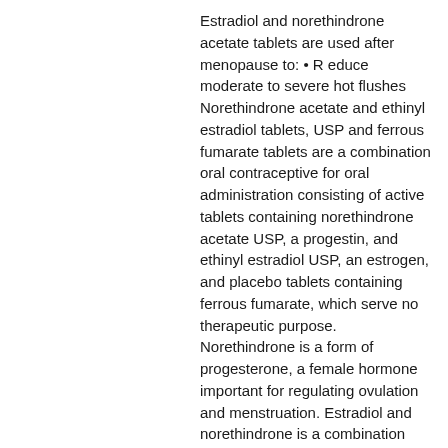Estradiol and norethindrone acetate tablets are used after menopause to: • R educe moderate to severe hot flushes Norethindrone acetate and ethinyl estradiol tablets, USP and ferrous fumarate tablets are a combination oral contraceptive for oral administration consisting of active tablets containing norethindrone acetate USP, a progestin, and ethinyl estradiol USP, an estrogen, and placebo tablets containing ferrous fumarate, which serve no therapeutic purpose. Norethindrone is a form of progesterone, a female hormone important for regulating ovulation and menstruation. Estradiol and norethindrone is a combination medicine used to treat menopause symptoms such as hot flashes and vaginal changes, and to prevent osteoporosis (bone loss) in menopausal women. Estradiol/norethindrone acetate drug & pharmaceuticals active ingredients names